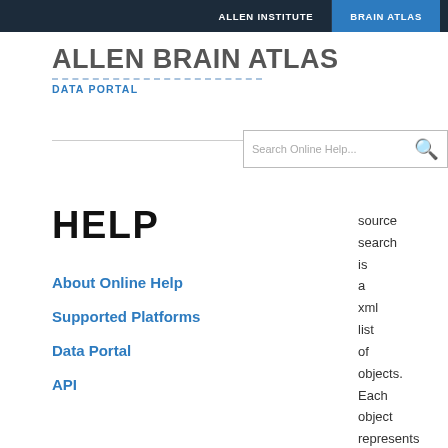ALLEN INSTITUTE   BRAIN ATLAS
ALLEN BRAIN ATLAS
DATA PORTAL
Search Online Help...
HELP
About Online Help
Supported Platforms
Data Portal
API
source search is a xml list of objects. Each object represents one experiment